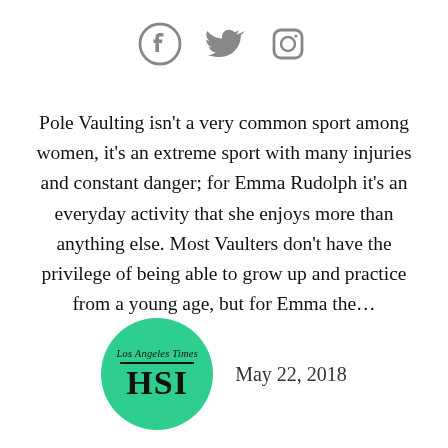[Figure (other): Social media icons: Facebook, Twitter, Instagram]
Pole Vaulting isn't a very common sport among women, it's an extreme sport with many injuries and constant danger; for Emma Rudolph it's an everyday activity that she enjoys more than anything else. Most Vaulters don't have the privilege of being able to grow up and practice from a young age, but for Emma the...
[Figure (logo): Los Angeles Times HSI logo in green circle]
May 22, 2018